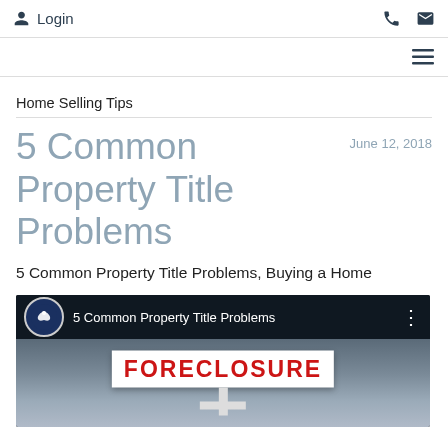Login
Home Selling Tips
5 Common Property Title Problems
June 12, 2018
5 Common Property Title Problems, Buying a Home
[Figure (screenshot): Video thumbnail showing '5 Common Property Title Problems' with a First American logo and a foreclosure sign image below]